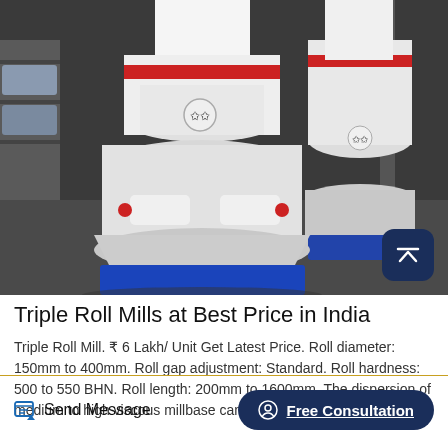[Figure (photo): Two large white Triple Roll Mill machines with red and blue accents, sitting on blue metal bases in an industrial warehouse setting.]
Triple Roll Mills at Best Price in India
Triple Roll Mill. ₹ 6 Lakh/ Unit Get Latest Price. Roll diameter: 150mm to 400mm. Roll gap adjustment: Standard. Roll hardness: 500 to 550 BHN. Roll length: 200mm to 1600mm. The dispersion of medium to high viscous millbase can.
Send Message
Free Consultation